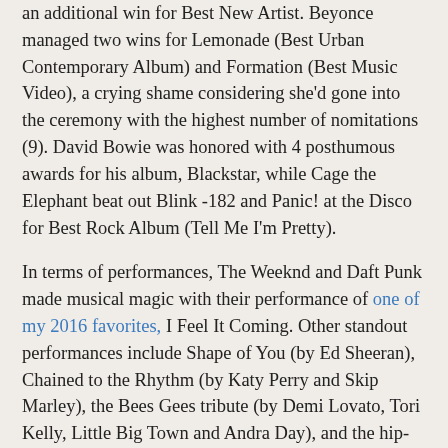an additional win for Best New Artist. Beyonce managed two wins for Lemonade (Best Urban Contemporary Album) and Formation (Best Music Video), a crying shame considering she'd gone into the ceremony with the highest number of nomitations (9). David Bowie was honored with 4 posthumous awards for his album, Blackstar, while Cage the Elephant beat out Blink -182 and Panic! at the Disco for Best Rock Album (Tell Me I'm Pretty).
In terms of performances, The Weeknd and Daft Punk made musical magic with their performance of one of my 2016 favorites, I Feel It Coming. Other standout performances include Shape of You (by Ed Sheeran), Chained to the Rhythm (by Katy Perry and Skip Marley), the Bees Gees tribute (by Demi Lovato, Tori Kelly, Little Big Town and Andra Day), and the hip-hop mashup between A Tribe Called Quest, Anderson .Paak, Busta Rhymes and Consequence. Bruno Mars also brought his A-game during his performance of That's What I Like and the Prince tribute, so no surprises there.
One thing that surprised me this year though were the sheer